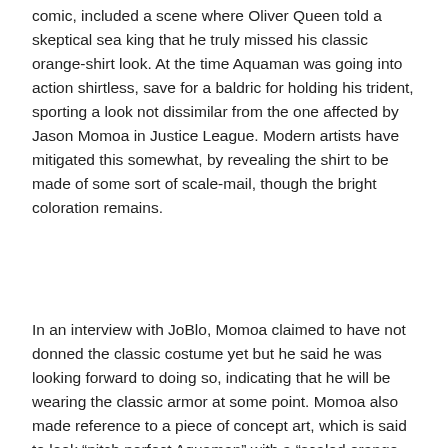comic, included a scene where Oliver Queen told a skeptical sea king that he truly missed his classic orange-shirt look. At the time Aquaman was going into action shirtless, save for a baldric for holding his trident, sporting a look not dissimilar from the one affected by Jason Momoa in Justice League. Modern artists have mitigated this somewhat, by revealing the shirt to be made of some sort of scale-mail, though the bright coloration remains.
In an interview with JoBlo, Momoa claimed to have not donned the classic costume yet but he said he was looking forward to doing so, indicating that he will be wearing the classic armor at some point. Momoa also made reference to a piece of concept art, which is said to look “pitch perfect Aquaman” with a “scaled orange top, green pants (and) golden